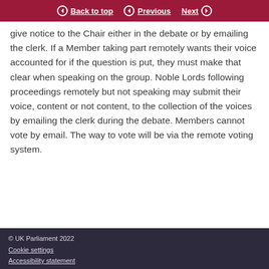Back to top | Previous | Next
give notice to the Chair either in the debate or by emailing the clerk. If a Member taking part remotely wants their voice accounted for if the question is put, they must make that clear when speaking on the group. Noble Lords following proceedings remotely but not speaking may submit their voice, content or not content, to the collection of the voices by emailing the clerk during the debate. Members cannot vote by email. The way to vote will be via the remote voting system.
© UK Parliament 2022
Cookie settings
Accessibility statement